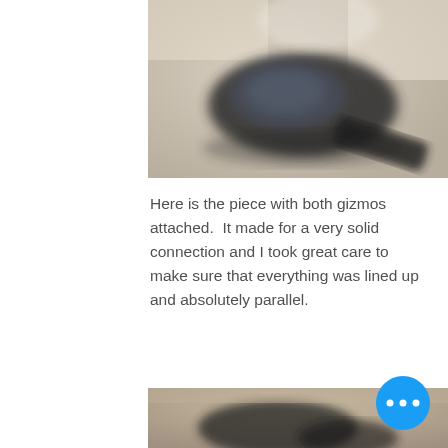[Figure (photo): Blurry photo of a dark electronic device or component laid flat on a light beige surface, viewed from above at an angle.]
Here is the piece with both gizmos attached.  It made for a very solid connection and I took great care to make sure that everything was lined up and absolutely parallel.
[Figure (photo): Partial photo at the bottom of the page showing another device or component on a surface, partially cut off.]